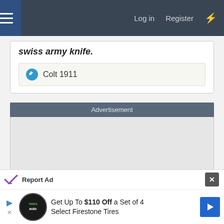Log in  Register
swiss army knife.
Colt 1911
Advertisement
[Figure (other): Gray advertisement placeholder box]
Report Ad
Get Up To $110 Off a Set of 4 Select Firestone Tires